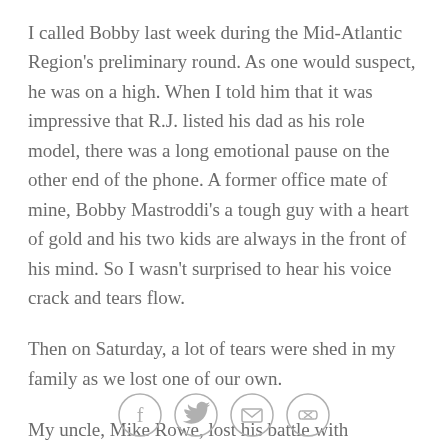I called Bobby last week during the Mid-Atlantic Region's preliminary round. As one would suspect, he was on a high. When I told him that it was impressive that R.J. listed his dad as his role model, there was a long emotional pause on the other end of the phone. A former office mate of mine, Bobby Mastroddi's a tough guy with a heart of gold and his two kids are always in the front of his mind. So I wasn't surprised to hear his voice crack and tears flow.
Then on Saturday, a lot of tears were shed in my family as we lost one of our own.
My uncle, Mike Rowe, lost his battle with pancreatic cancer this weekend. A retired Lieutenant Colonel who served 20 years in the Army. Uncle Mike went into a
[Figure (other): Social media sharing icons: Facebook, Twitter, Email, Link]